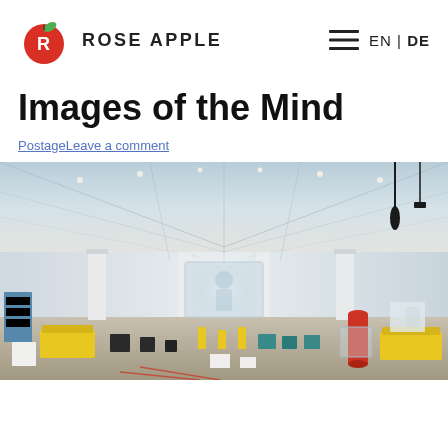ROSE APPLE — EN | DE
Images of the Mind
PostageLeave a comment
[Figure (photo): Wide-angle interior shot of a large museum gallery space with high white ceilings, track lighting, white columns, and colorful exhibition installations including yellow benches, red and blue cylindrical stands, suspended black objects, and a projected video screen showing a person's silhouette.]